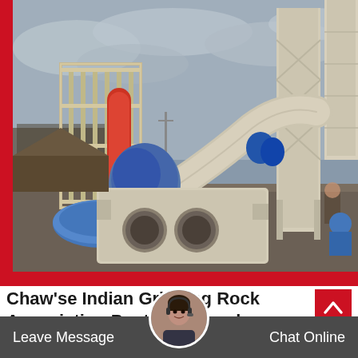[Figure (photo): Industrial grinding/milling machine equipment outdoors at a construction or mining site. Large cream/beige colored machinery with cyclone separators, pipes, and a blue tarp visible. Overcast sky in background.]
Chaw'se Indian Grinding Rock Association Posts Facebook
Leave Message   a not   it Irs 5   Chat Online
associations 1997 the visit